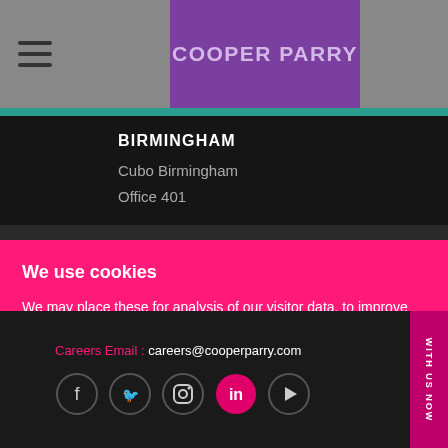COOPER PARRY
BIRMINGHAM
Cubo Birmingham
Office 401
We use cookies
We may place these for analysis of our visitor data, to improve our website, show personalised content and to give you a great website experience. For more information about the cookies we use open the settings.
Careers Email : careers@cooperparry.com
[Figure (other): Social media icons: Facebook, Twitter, Instagram, LinkedIn (highlighted in pink), YouTube]
WITH US NOW